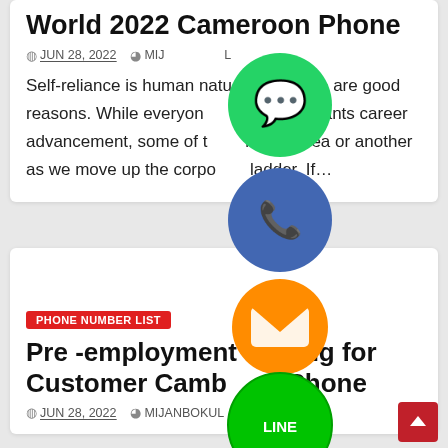World 2022 Cameroon Phone
JUN 28, 2022   MIJANBOKUL
Self-reliance is human nature, and there are good reasons. While everyone desperately wants career advancement, some of us in one area or another as we move up the corporate ladder. If…
PHONE NUMBER LIST
Pre -employment Testing for Customer Cambodia Phone
JUN 28, 2022   MIJANBOKUL